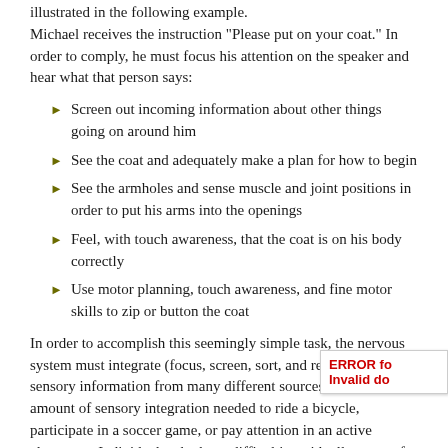illustrated in the following example.
Michael receives the instruction “Please put on your coat.” In order to comply, he must focus his attention on the speaker and hear what that person says:
Screen out incoming information about other things going on around him
See the coat and adequately make a plan for how to begin
See the armholes and sense muscle and joint positions in order to put his arms into the openings
Feel, with touch awareness, that the coat is on his body correctly
Use motor planning, touch awareness, and fine motor skills to zip or button the coat
In order to accomplish this seemingly simple task, the nervous system must integrate (focus, screen, sort, and respond to) sensory information from many different sources. Imagine the amount of sensory integration needed to ride a bicycle, participate in a soccer game, or pay attention in an active classroom. Individuals who have difficulties with all or part of this process face significant challenges when engaging in daily functional activities